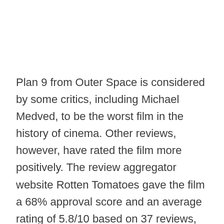Plan 9 from Outer Space is considered by some critics, including Michael Medved, to be the worst film in the history of cinema. Other reviews, however, have rated the film more positively. The review aggregator website Rotten Tomatoes gave the film a 68% approval score and an average rating of 5.8/10 based on 37 reviews, with the consensus of its critics observing: “The epitome of so-bad-it’s-good cinema, Plan 9 from Outer Space is an unintentionally hilarious sci-fi ‘thriller’ from anti-genius Ed Wood that is justly celebrated for its staggering ineptitude.” Many of them stated that the film